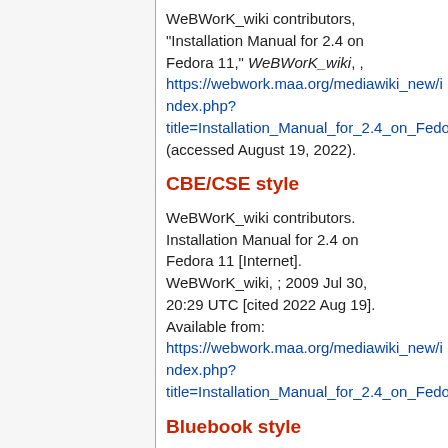WeBWorK_wiki contributors, "Installation Manual for 2.4 on Fedora 11," WeBWorK_wiki, , https://webwork.maa.org/mediawiki_new/index.php?title=Installation_Manual_for_2.4_on_Fedora (accessed August 19, 2022).
CBE/CSE style
WeBWorK_wiki contributors. Installation Manual for 2.4 on Fedora 11 [Internet]. WeBWorK_wiki, ; 2009 Jul 30, 20:29 UTC [cited 2022 Aug 19]. Available from: https://webwork.maa.org/mediawiki_new/index.php?title=Installation_Manual_for_2.4_on_Fedora
Bluebook style
Installation Manual for 2.4 on